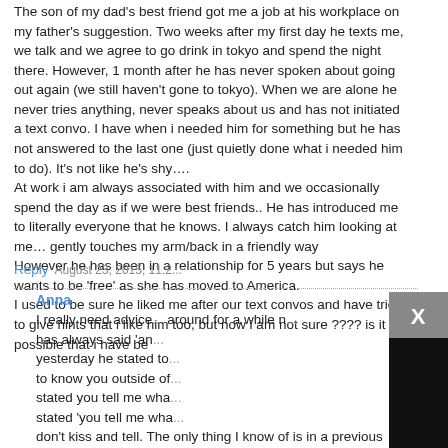The son of my dad's best friend got me a job at his workplace on my father's suggestion. Two weeks after my first day he texts me, we talk and we agree to go drink in tokyo and spend the night there. However, 1 month after he has never spoken about going out again (we still haven't gone to tokyo). When we are alone he never tries anything, never speaks about us and has not initiated a text convo. I have when i needed him for something but he has not answered to the last one (just quietly done what i needed him to do). It's not like he's shy….
At work i am always associated with him and we occasionally spend the day as if we were best friends.. He has introduced me to literally everyone that he knows. I always catch him looking at me… gently touches my arm/back in a friendly way
However he has been in a relationship for 5 years but says he wants to be 'free' as she has moved to America.
I used to be sure he liked me after our text convos and have tried to give hints that i like him too, but now i am not sure ???? is it possible that i have be
Reply   August 23, 2015, 11:2...
Anna
I really need advice... around for a while n... has always said 'an... yesterday he stated to... to know you outside of... stated you tell me wha... stated 'you tell me wha... don't kiss and tell. The only thing I know of is in a previous conversation he state you looking for a relationship….I've been there many many times happy where I am; I did let him know I know
[Figure (screenshot): Video player overlay with dark background, play button triangle in center, progress bar, and controls showing mute, 13:52 timestamp, CC, grid, settings, and fullscreen icons]